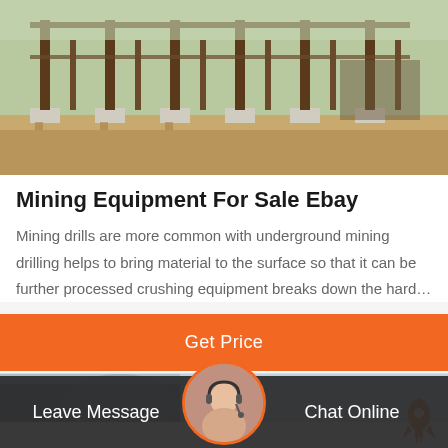[Figure (photo): Construction site photo showing steel pillars/columns on concrete foundations with dirt ground and equipment visible in background]
Mining Equipment For Sale Ebay
Mining drills are more common with underground mining drilling helps to bring material to the surface so that it can be further processed crushing equipment breaks down the hard…
Get Price
[Figure (photo): Partial photo of mining or construction machinery against a sky background]
Leave Message
[Figure (photo): Customer service representative avatar - woman with headset smiling]
Chat Online